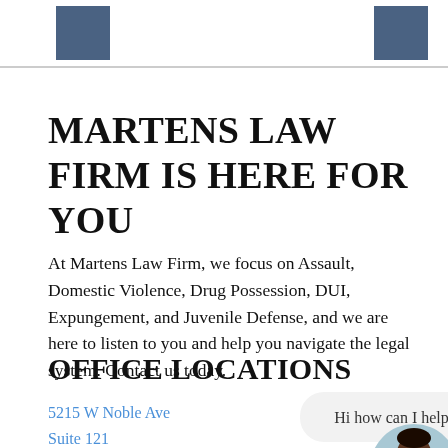[Figure (other): Website header bar with two dark blue square accent blocks on left and right sides]
MARTENS LAW FIRM IS HERE FOR YOU
At Martens Law Firm, we focus on Assault, Domestic Violence, Drug Possession, DUI, Expungement, and Juvenile Defense, and we are here to listen to you and help you navigate the legal system. Contact us today.
OFFICE LOCATIONS
5215 W Noble Ave
Suite 121
Visalia, CA 93277
[Figure (illustration): Chat bubble saying 'Hi how can I help?' with a customer service avatar illustration of a person with dark skin and green jacket, with a green online indicator dot]